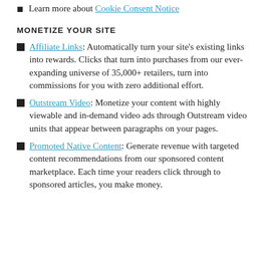Learn more about Cookie Consent Notice
MONETIZE YOUR SITE
Affiliate Links: Automatically turn your site's existing links into rewards. Clicks that turn into purchases from our ever-expanding universe of 35,000+ retailers, turn into commissions for you with zero additional effort.
Outstream Video: Monetize your content with highly viewable and in-demand video ads through Outstream video units that appear between paragraphs on your pages.
Promoted Native Content: Generate revenue with targeted content recommendations from our sponsored content marketplace. Each time your readers click through to sponsored articles, you make money.